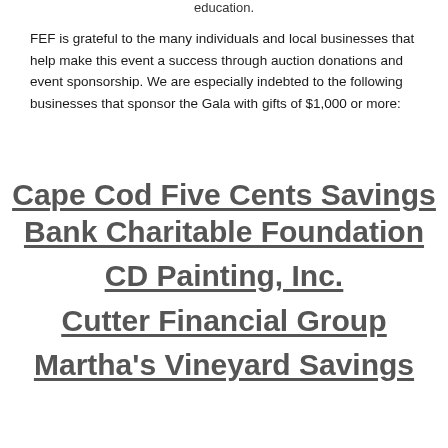education.
FEF is grateful to the many individuals and local businesses that help make this event a success through auction donations and event sponsorship. We are especially indebted to the following businesses that sponsor the Gala with gifts of $1,000 or more:
Cape Cod Five Cents Savings Bank Charitable Foundation
CD Painting, Inc.
Cutter Financial Group
Martha's Vineyard Savings